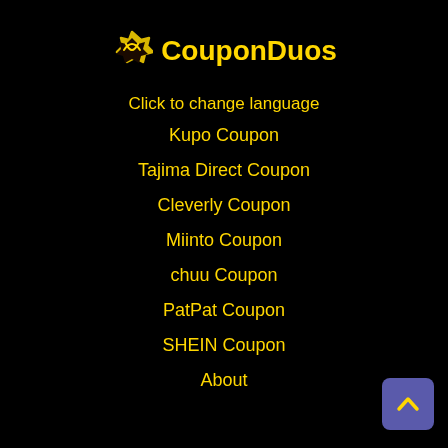CouponDuos
Click to change language
Kupo Coupon
Tajima Direct Coupon
Cleverly Coupon
Miinto Coupon
chuu Coupon
PatPat Coupon
SHEIN Coupon
About